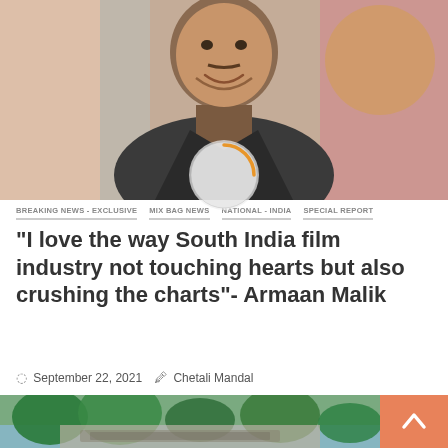[Figure (photo): Photograph of a young man smiling with a mustache and beard, wearing a dark jacket, colorful background behind him]
BREAKING NEWS - EXCLUSIVE · MIX BAG NEWS · NATIONAL - INDIA · SPECIAL REPORT
"I love the way South India film industry not touching hearts but also crushing the charts"- Armaan Malik
September 22, 2021  Chetali Mandal
[Figure (photo): Outdoor photo with trees and a building with script text visible]